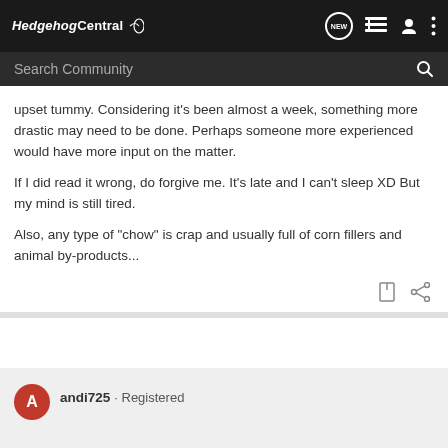Hedgehog Central
upset tummy. Considering it's been almost a week, something more drastic may need to be done. Perhaps someone more experienced would have more input on the matter.

If I did read it wrong, do forgive me. It's late and I can't sleep XD But my mind is still tired.

Also, any type of "chow" is crap and usually full of corn fillers and animal by-products...
andi725 · Registered